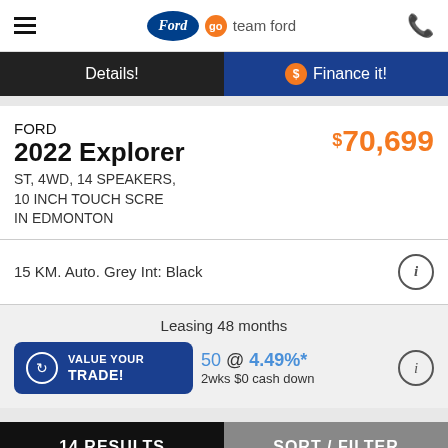go team ford — Ford dealership website header
Details! | $ Finance it!
FORD
2022 Explorer
ST, 4WD, 14 SPEAKERS, 10 INCH TOUCH SCRE
IN EDMONTON
$70,699
15 KM. Auto. Grey Int: Black
Leasing 48 months
50 @ 4.49%*
2wks $0 cash down
VALUE YOUR TRADE!
14 RESULTS    SORT / FILTER